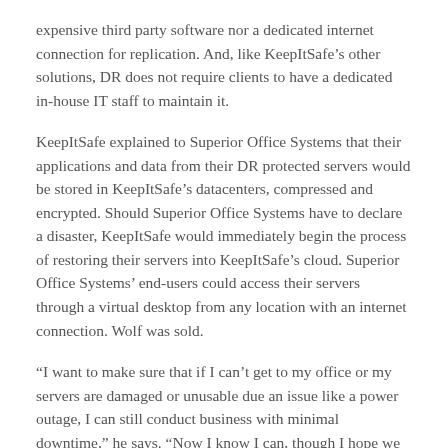expensive third party software nor a dedicated internet connection for replication. And, like KeepItSafe's other solutions, DR does not require clients to have a dedicated in-house IT staff to maintain it.
KeepItSafe explained to Superior Office Systems that their applications and data from their DR protected servers would be stored in KeepItSafe's datacenters, compressed and encrypted. Should Superior Office Systems have to declare a disaster, KeepItSafe would immediately begin the process of restoring their servers into KeepItSafe's cloud. Superior Office Systems' end-users could access their servers through a virtual desktop from any location with an internet connection. Wolf was sold.
“I want to make sure that if I can’t get to my office or my servers are damaged or unusable due an issue like a power outage, I can still conduct business with minimal downtime,” he says. “Now I know I can, though I hope we never need it.”